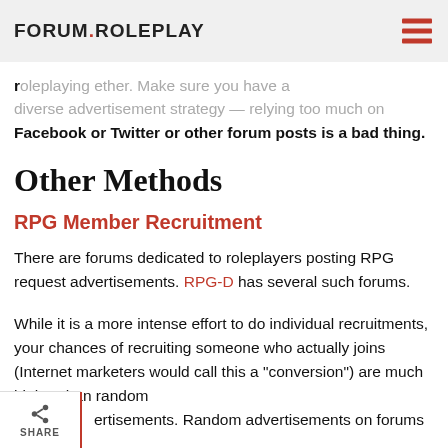FORUM ROLEPLAY
same old — you might want to try some new tactics with your roleplaying game! Even so, don't forget your basic roleplaying ether. Make sure you have a diverse advertisement strategy — relying too much on Facebook or Twitter or other forum posts is a bad thing.
Other Methods
RPG Member Recruitment
There are forums dedicated to roleplayers posting RPG request advertisements. RPG-D has several such forums.
While it is a more intense effort to do individual recruitments, your chances of recruiting someone who actually joins (Internet marketers would call this a “conversion”) are much higher than random ertisements. Random advertisements on forums have w rate of “conversion” — e.g., many people may see